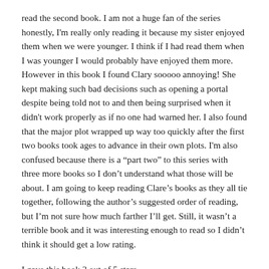read the second book. I am not a huge fan of the series honestly, I'm really only reading it because my sister enjoyed them when we were younger. I think if I had read them when I was younger I would probably have enjoyed them more. However in this book I found Clary sooooo annoying! She kept making such bad decisions such as opening a portal despite being told not to and then being surprised when it didn't work properly as if no one had warned her. I also found that the major plot wrapped up way too quickly after the first two books took ages to advance in their own plots. I'm also confused because there is a “part two” to this series with three more books so I don't understand what those will be about. I am going to keep reading Clare’s books as they all tie together, following the author’s suggested order of reading, but I'm not sure how much farther I'll get. Still, it wasn't a terrible book and it was interesting enough to read so I didn’t think it should get a low rating.
I gave this book 3 out of 5 stars.